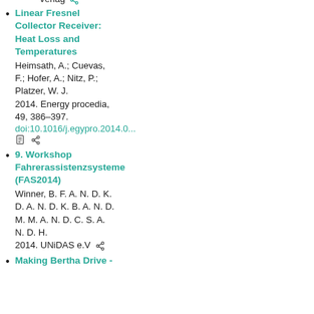Verlag
Linear Fresnel Collector Receiver: Heat Loss and Temperatures
Heimsath, A.; Cuevas, F.; Hofer, A.; Nitz, P.; Platzer, W. J.
2014. Energy procedia, 49, 386–397.
doi:10.1016/j.egypro.2014.0...
9. Workshop Fahrerassistenzsysteme (FAS2014)
Winner, B. F. A. N. D. K. D. A. N. D. K. B. A. N. D. M. M. A. N. D. C. S. A. N. D. H.
2014. UNiDAS e.V
Making Bertha Drive -